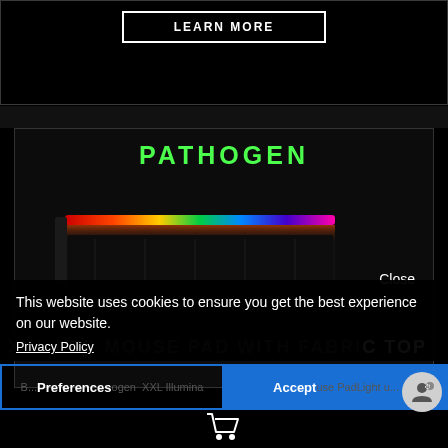[Figure (screenshot): Top dark section with LEARN MORE button in white border]
PATHOGEN
[Figure (photo): RGB illuminated XXL mouse pad with rainbow LED edge lighting, dark fabric surface, viewed at slight angle]
Close
This website uses cookies to ensure you get the best experience on our website.
Privacy Policy
XXL LED MOUSE PAD WITH FABRIC TOP
Preferences
Accept
Battl...ogen XXL Illumina...use PadLight u...